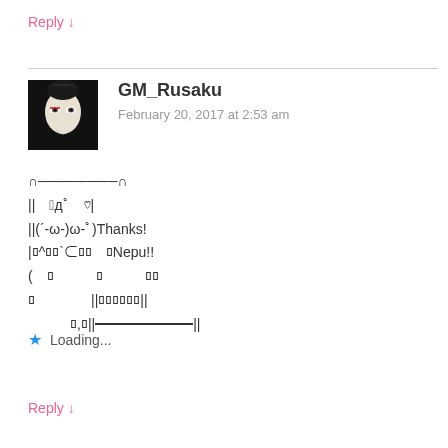Reply ↓
[Figure (photo): Dark avatar image of a pale face with dark hair and red eye accent on black background]
GM_Rusaku
February 20, 2017 at 2:53 am
∩────────∩
||　ﾟдﾟ　 ♡|
||(´-ω-)ω-ﾟ)Thanks!
|ﾛ^ﾛﾛ`⊂ﾛﾛ ﾛNepu!!
(　ﾛ　　ﾛ　　ﾛﾛ
ﾛ　　　||ﾛﾛﾛﾛﾛﾛ||
　　　ﾛ,ﾛ||━━━━━━||
★  Loading...
Reply ↓